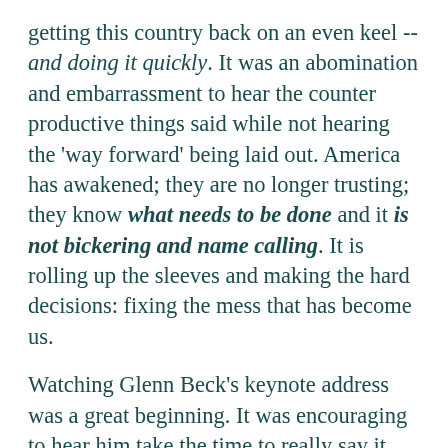getting this country back on an even keel -- and doing it quickly. It was an abomination and embarrassment to hear the counter productive things said while not hearing the 'way forward' being laid out. America has awakened; they are no longer trusting; they know what needs to be done and it is not bickering and name calling. It is rolling up the sleeves and making the hard decisions: fixing the mess that has become us.
Watching Glenn Beck's keynote address was a great beginning. It was encouraging to hear him take the time to really say it like it is to the Republicans without nary a word about the Dems. YES! As his speech moved along, it was curious to think if the fervor that was evident in the room would leave that building and return to work. Will it be there on